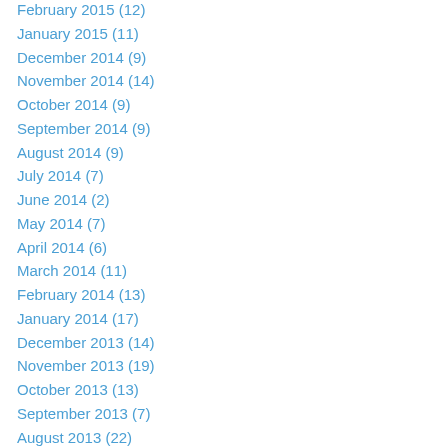February 2015 (12)
January 2015 (11)
December 2014 (9)
November 2014 (14)
October 2014 (9)
September 2014 (9)
August 2014 (9)
July 2014 (7)
June 2014 (2)
May 2014 (7)
April 2014 (6)
March 2014 (11)
February 2014 (13)
January 2014 (17)
December 2013 (14)
November 2013 (19)
October 2013 (13)
September 2013 (7)
August 2013 (22)
July 2013 (25)